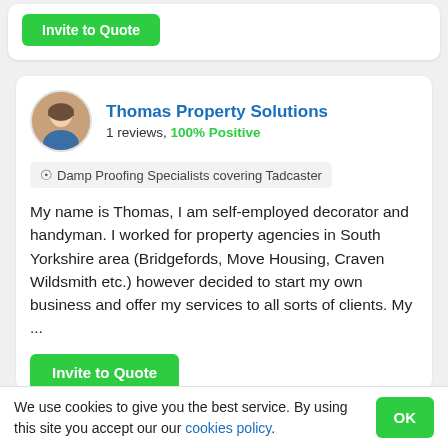[Figure (screenshot): Top card with green Invite to Quote button, partially visible]
[Figure (screenshot): Profile card for Thomas Property Solutions with avatar, reviews, location, description and Invite to Quote button]
Thomas Property Solutions
1 reviews, 100% Positive
Damp Proofing Specialists covering Tadcaster
My name is Thomas, I am self-employed decorator and handyman. I worked for property agencies in South Yorkshire area (Bridgefords, Move Housing, Craven Wildsmith etc.) however decided to start my own business and offer my services to all sorts of clients. My ...
We use cookies to give you the best service. By using this site you accept our our cookies policy.